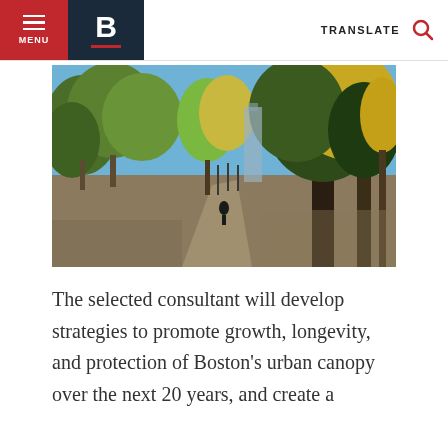MENU | B | TRANSLATE
[Figure (photo): A tree-lined park path in autumn with yellow-green foliage, a person walking along a paved walkway, and a city building visible in the background under a clear blue sky.]
The selected consultant will develop strategies to promote growth, longevity, and protection of Boston's urban canopy over the next 20 years, and create a